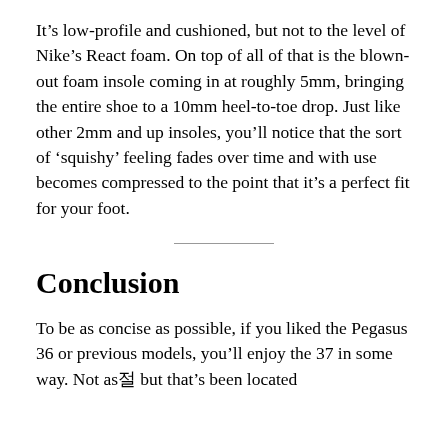It’s low-profile and cushioned, but not to the level of Nike’s React foam. On top of all of that is the blown-out foam insole coming in at roughly 5mm, bringing the entire shoe to a 10mm heel-to-toe drop. Just like other 2mm and up insoles, you’ll notice that the sort of ‘squishy’ feeling fades over time and with use becomes compressed to the point that it’s a perfect fit for your foot.
Conclusion
To be as concise as possible, if you liked the Pegasus 36 or previous models, you’ll enjoy the 37 in some way. Not as절 but that’s been located